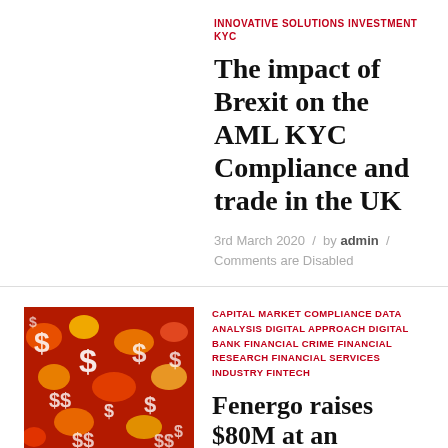INNOVATIVE SOLUTIONS INVESTMENT KYC
The impact of Brexit on the AML KYC Compliance and trade in the UK
3rd March 2020 / by admin / Comments are Disabled
[Figure (photo): Colorful image with dollar signs on red background]
CAPITAL MARKET COMPLIANCE DATA ANALYSIS DIGITAL APPROACH DIGITAL BANK FINANCIAL CRIME FINANCIAL RESEARCH FINANCIAL SERVICES INDUSTRY FINTECH
Fenergo raises $80M at an $800M valuation for